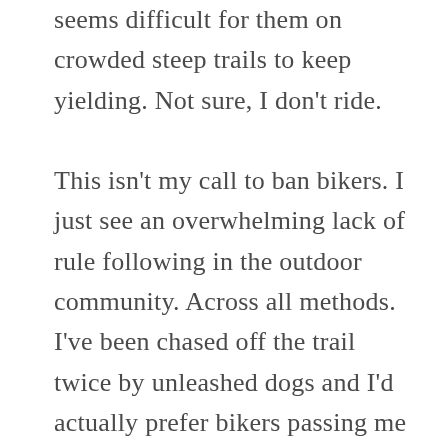seems difficult for them on crowded steep trails to keep yielding. Not sure, I don't ride.

This isn't my call to ban bikers. I just see an overwhelming lack of rule following in the outdoor community. Across all methods. I've been chased off the trail twice by unleashed dogs and I'd actually prefer bikers passing me too fast over that any day. I do think trails could easily be shared, but it starts with correcting whatever it is that causes so many people